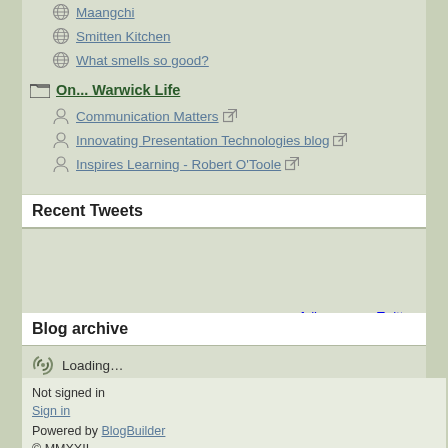Maangchi
Smitten Kitchen
What smells so good?
On... Warwick Life
Communication Matters
Innovating Presentation Technologies blog
Inspires Learning - Robert O'Toole
Recent Tweets
follow me on Twitter
Blog archive
Loading…
Not signed in
Sign in
Powered by BlogBuilder
© MMXXII